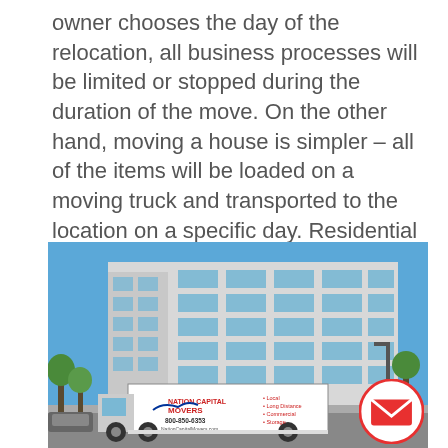owner chooses the day of the relocation, all business processes will be limited or stopped during the duration of the move. On the other hand, moving a house is simpler – all of the items will be loaded on a moving truck and transported to the location on a specific day. Residential relocation is not as strict as office moves.
[Figure (photo): Photograph of a moving truck branded 'Nation Capital Movers' with phone number 800-850-6353 and website NationCapitalMovers.com, parked in front of a large multi-story office building with blue glass windows, under a clear blue sky. A red circular email/envelope icon overlay appears in the bottom-right corner.]